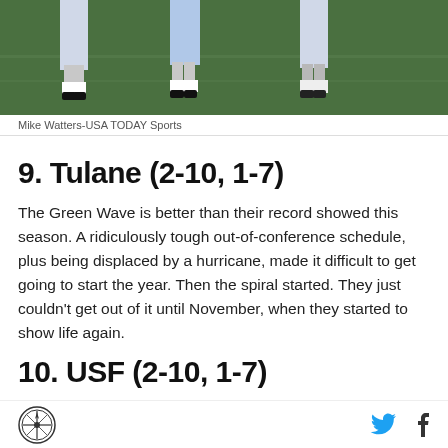[Figure (photo): Football players on a field, partial view showing legs and cleats on green turf]
Mike Watters-USA TODAY Sports
9. Tulane (2-10, 1-7)
The Green Wave is better than their record showed this season. A ridiculously tough out-of-conference schedule, plus being displaced by a hurricane, made it difficult to get going to start the year. Then the spiral started. They just couldn't get out of it until November, when they started to show life again.
10. USF (2-10, 1-7)
SB Nation logo, Twitter and Facebook icons